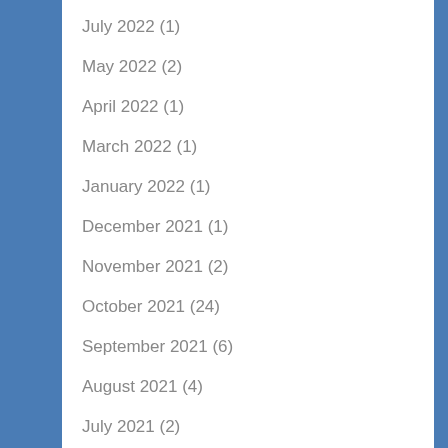July 2022 (1)
May 2022 (2)
April 2022 (1)
March 2022 (1)
January 2022 (1)
December 2021 (1)
November 2021 (2)
October 2021 (24)
September 2021 (6)
August 2021 (4)
July 2021 (2)
June 2021 (1)